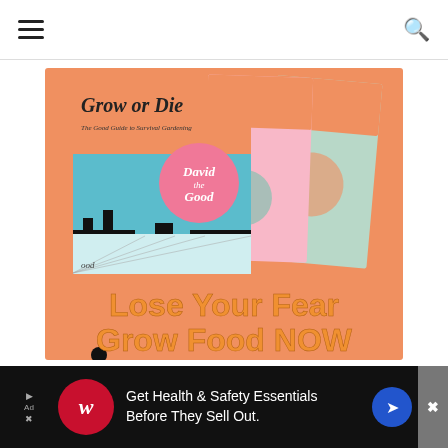Navigation menu and search
[Figure (illustration): Book advertisement image showing stacked books titled 'Grow or Die: The Good Guide to Survival Gardening' by David the Good, with orange background and text 'Lose Your Fear Grow Food NOW']
[Figure (infographic): Bottom advertisement banner: Walgreens logo with text 'Get Health & Safety Essentials Before They Sell Out.' with blue directional arrow icon]